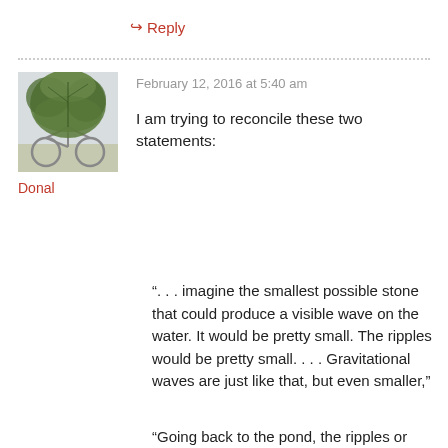↳ Reply
[Figure (photo): Avatar photo showing a bicycle heavily loaded with green foliage/branches]
Donal
February 12, 2016 at 5:40 am
I am trying to reconcile these two statements:
“. . . imagine the smallest possible stone that could produce a visible wave on the water. It would be pretty small. The ripples would be pretty small. . . . Gravitational waves are just like that, but even smaller,”
“Going back to the pond, the ripples or waves on the water. Those are technically called gravity waves, . . . Gravitational waves are a totally different thing.”